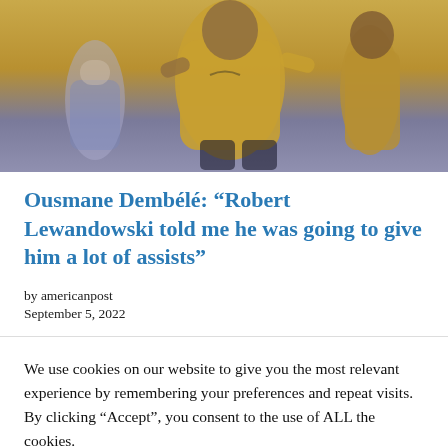[Figure (photo): Soccer players in action, one wearing a gold/yellow jersey and another in a blue and white striped jersey]
Ousmane Dembélé: “Robert Lewandowski told me he was going to give him a lot of assists”
by americanpost
September 5, 2022
We use cookies on our website to give you the most relevant experience by remembering your preferences and repeat visits. By clicking “Accept”, you consent to the use of ALL the cookies.
Do not sell my personal information.
Cookie Settings  Accept